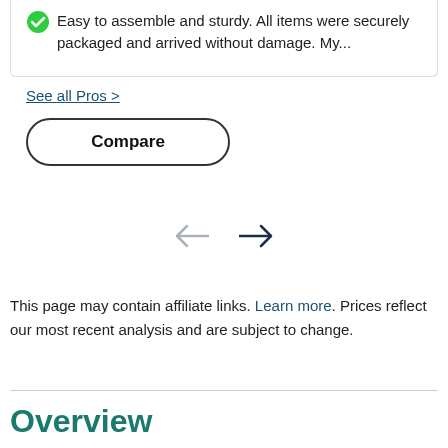Easy to assemble and sturdy. All items were securely packaged and arrived without damage. My...
See all Pros >
Compare
[Figure (other): Navigation arrows: left arrow (grey) and right arrow (dark navy)]
This page may contain affiliate links. Learn more. Prices reflect our most recent analysis and are subject to change.
Overview